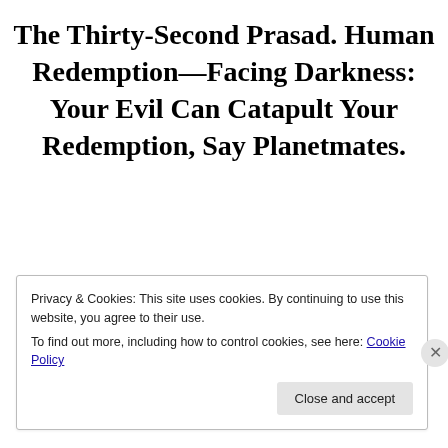The Thirty-Second Prasad. Human Redemption—Facing Darkness: Your Evil Can Catapult Your Redemption, Say Planetmates.
Privacy & Cookies: This site uses cookies. By continuing to use this website, you agree to their use.
To find out more, including how to control cookies, see here: Cookie Policy